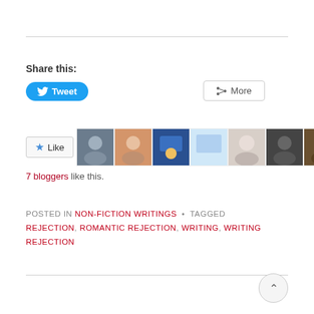Share this:
[Figure (screenshot): Tweet button and More button for sharing]
[Figure (screenshot): Like button with 7 blogger avatars]
7 bloggers like this.
POSTED IN NON-FICTION WRITINGS • TAGGED REJECTION, ROMANTIC REJECTION, WRITING, WRITING REJECTION